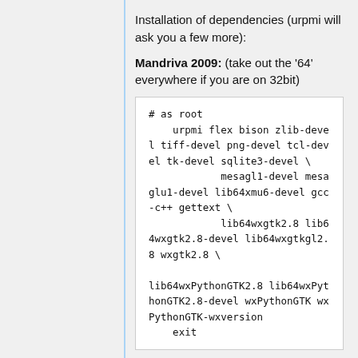Installation of dependencies (urpmi will ask you a few more):
Mandriva 2009: (take out the '64' everywhere if you are on 32bit)
# as root
    urpmi flex bison zlib-devel tiff-devel png-devel tcl-devel tk-devel sqlite3-devel \
            mesagl1-devel mesaglu1-devel lib64xmu6-devel gcc-c++ gettext \
            lib64wxgtk2.8 lib64wxgtk2.8-devel lib64wxgtkgl2.8 wxgtk2.8 \

 lib64wxPythonGTK2.8 lib64wxPythonGTK2.8-devel wxPythonGTK wxPythonGTK-wxversion
    exit